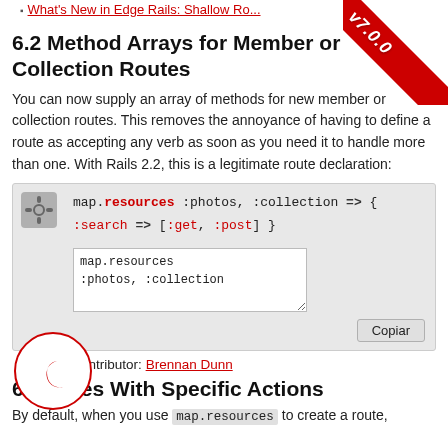What's New in Edge Rails: Shallow Ro...
6.2 Method Arrays for Member or Collection Routes
You can now supply an array of methods for new member or collection routes. This removes the annoyance of having to define a route as accepting any verb as soon as you need it to handle more than one. With Rails 2.2, this is a legitimate route declaration:
[Figure (screenshot): Code block showing: map.resources :photos, :collection => { :search => [:get, :post] } with a textarea showing 'map.resources :photos, :collection' and a 'Copiar' button]
Lead Contributor: Brennan Dunn
6. ources With Specific Actions
By default, when you use map.resources to create a route,